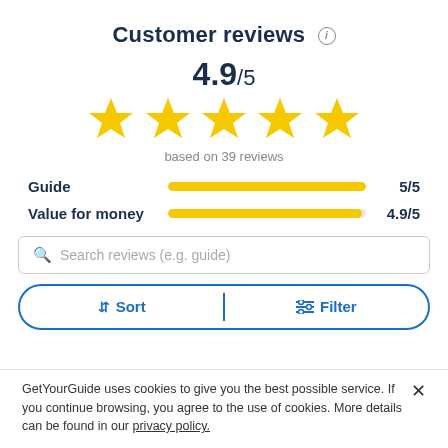Customer reviews
4.9/5
[Figure (infographic): Five yellow stars rating display]
based on 39 reviews
[Figure (bar-chart): Rating breakdown]
Search reviews (e.g. guide)
Sort   Filter
GetYourGuide uses cookies to give you the best possible service. If you continue browsing, you agree to the use of cookies. More details can be found in our privacy policy.